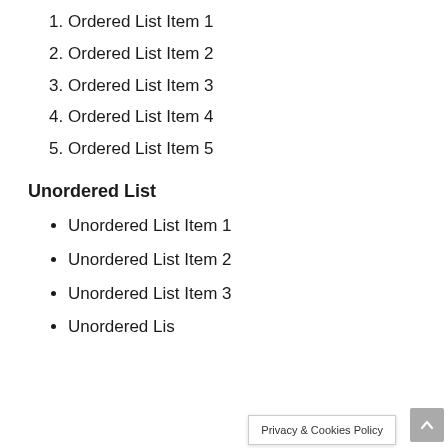Ordered List Item 1
Ordered List Item 2
Ordered List Item 3
Ordered List Item 4
Ordered List Item 5
Unordered List
Unordered List Item 1
Unordered List Item 2
Unordered List Item 3
Unordered List Item 4